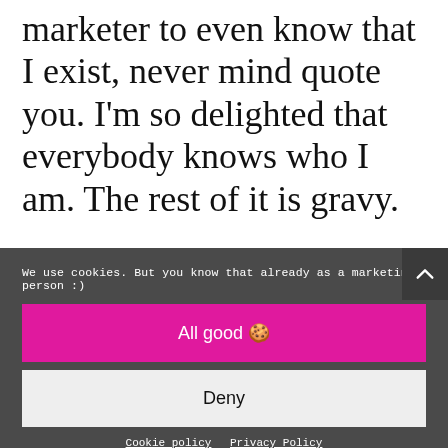marketer to even know that I exist, never mind quote you. I'm so delighted that everybody knows who I am. The rest of it is gravy.
We use cookies. But you know that already as a marketing person :)
All good 🍪
Deny
Cookie policy   Privacy Policy